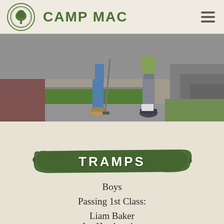CAMP MAC
[Figure (photo): Two campers playing mini golf on a concrete course with green putting surface, stairs visible in background]
TRAMPS
Boys
Passing 1st Class:
Liam Baker
Jay Handmacher